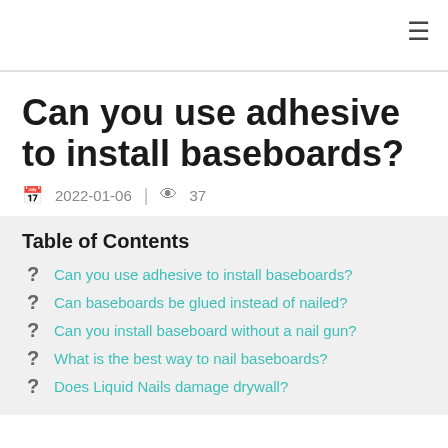≡
Can you use adhesive to install baseboards?
2022-01-06 | 37
Table of Contents
Can you use adhesive to install baseboards?
Can baseboards be glued instead of nailed?
Can you install baseboard without a nail gun?
What is the best way to nail baseboards?
Does Liquid Nails damage drywall?